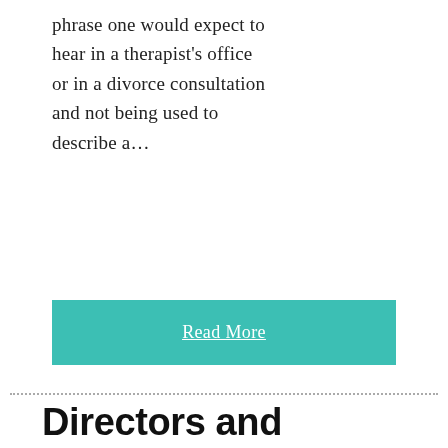phrase one would expect to hear in a therapist's office or in a divorce consultation and not being used to describe a...
Read More
Directors and business rescue practitioners – the Companies